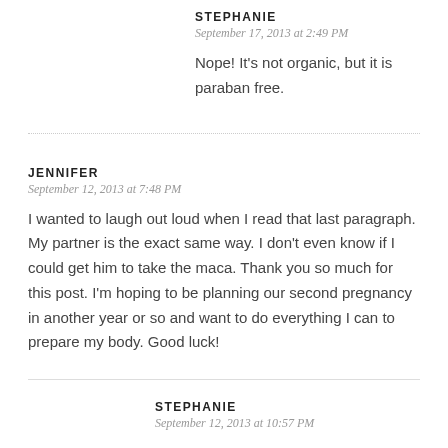STEPHANIE
September 17, 2013 at 2:49 PM
Nope! It’s not organic, but it is paraban free.
JENNIFER
September 12, 2013 at 7:48 PM
I wanted to laugh out loud when I read that last paragraph. My partner is the exact same way. I don’t even know if I could get him to take the maca. Thank you so much for this post. I’m hoping to be planning our second pregnancy in another year or so and want to do everything I can to prepare my body. Good luck!
STEPHANIE
September 12, 2013 at 10:57 PM